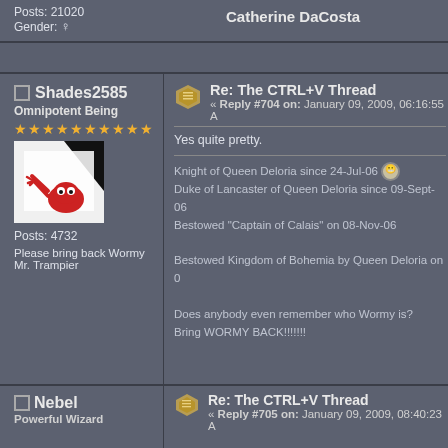Posts: 21020
Gender: [female icon]
Catherine DaCosta
Shades2585
Omnipotent Being
★★★★★★★★★★
Posts: 4732
Please bring back Wormy Mr. Trampier
Re: The CTRL+V Thread
« Reply #704 on: January 09, 2009, 06:16:55 A
Yes quite pretty.
Knight of Queen Deloria since 24-Jul-06
Duke of Lancaster of Queen Deloria since 09-Sept-06
Bestowed "Captain of Calais" on 08-Nov-06
Bestowed Kingdom of Bohemia by Queen Deloria on 0
Does anybody even remember who Wormy is?
Bring WORMY BACK!!!!!!!
Nebel
Powerful Wizard
Re: The CTRL+V Thread
« Reply #705 on: January 09, 2009, 08:40:23 A